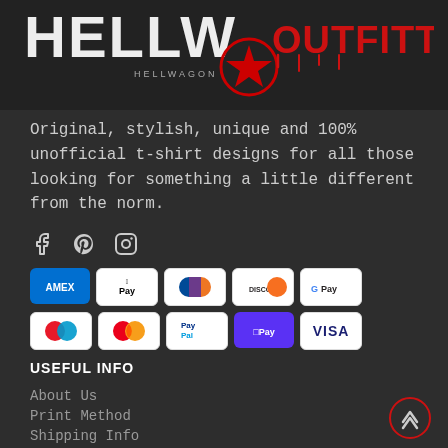[Figure (logo): Hellwagon Outfitters logo - distressed white text with red star circle and 'OUTFITTERS' in red dripping font on dark background]
Original, stylish, unique and 100% unofficial t-shirt designs for all those looking for something a little different from the norm.
[Figure (infographic): Social media icons: Facebook, Pinterest, Instagram]
[Figure (infographic): Payment method badges: AMEX, Apple Pay, Diners Club, Discover, Google Pay, Maestro, Mastercard, PayPal, Shop Pay, Visa]
USEFUL INFO
About Us
Print Method
Shipping Info
FAQ's